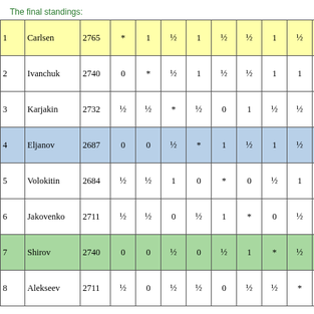The final standings:
| # | Name | Rating | 1 | 2 | 3 | 4 | 5 | 6 | 7 | 8 |
| --- | --- | --- | --- | --- | --- | --- | --- | --- | --- | --- |
| 1 | Carlsen | 2765 | * | 1 | ½ | 1 | ½ | ½ | 1 | ½ | ½ |
| 2 | Ivanchuk | 2740 | 0 | * | ½ | 1 | ½ | ½ | 1 | 1 | ½ |
| 3 | Karjakin | 2732 | ½ | ½ | * | ½ | 0 | 1 | ½ | ½ | ½ |
| 4 | Eljanov | 2687 | 0 | 0 | ½ | * | 1 | ½ | 1 | ½ | ½ |
| 5 | Volokitin | 2684 | ½ | ½ | 1 | 0 | * | 0 | ½ | 1 | ½ |
| 6 | Jakovenko | 2711 | ½ | ½ | 0 | ½ | 1 | * | 0 | ½ | ½ |
| 7 | Shirov | 2740 | 0 | 0 | ½ | 0 | ½ | 1 | * | ½ |  |
| 8 | Alekseev | 2711 | ½ | 0 | ½ | ½ | 0 | ½ | ½ | * |  |